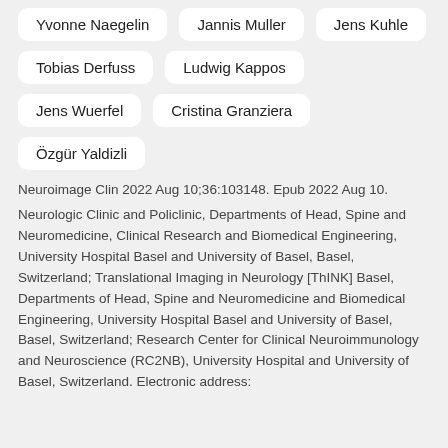Yvonne Naegelin
Jannis Muller
Jens Kuhle
Tobias Derfuss
Ludwig Kappos
Jens Wuerfel
Cristina Granziera
Özgür Yaldizli
Neuroimage Clin 2022 Aug 10;36:103148. Epub 2022 Aug 10.
Neurologic Clinic and Policlinic, Departments of Head, Spine and Neuromedicine, Clinical Research and Biomedical Engineering, University Hospital Basel and University of Basel, Basel, Switzerland; Translational Imaging in Neurology [ThINK] Basel, Departments of Head, Spine and Neuromedicine and Biomedical Engineering, University Hospital Basel and University of Basel, Basel, Switzerland; Research Center for Clinical Neuroimmunology and Neuroscience (RC2NB), University Hospital and University of Basel, Switzerland. Electronic address: